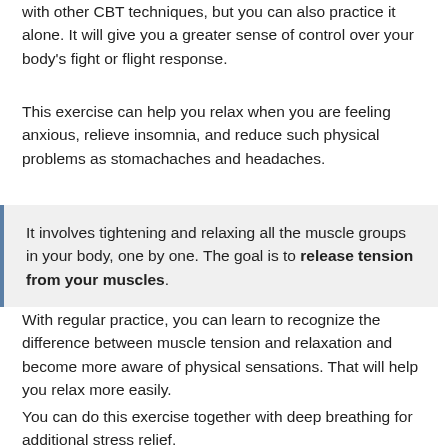with other CBT techniques, but you can also practice it alone. It will give you a greater sense of control over your body's fight or flight response.
This exercise can help you relax when you are feeling anxious, relieve insomnia, and reduce such physical problems as stomachaches and headaches.
It involves tightening and relaxing all the muscle groups in your body, one by one. The goal is to release tension from your muscles.
With regular practice, you can learn to recognize the difference between muscle tension and relaxation and become more aware of physical sensations. That will help you relax more easily.
You can do this exercise together with deep breathing for additional stress relief.